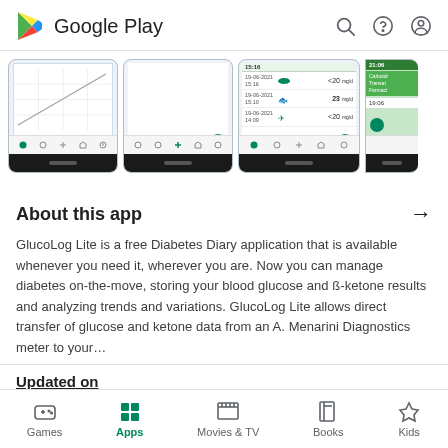Google Play
[Figure (screenshot): Screenshots of GlucoLog Lite app showing graph view, blank screen, measurement list, and partial fourth screen]
About this app
GlucoLog Lite is a free Diabetes Diary application that is available whenever you need it, wherever you are. Now you can manage diabetes on-the-move, storing your blood glucose and ß-ketone results and analyzing trends and variations. GlucoLog Lite allows direct transfer of glucose and ketone data from an A. Menarini Diagnostics meter to your…
Updated on
Games | Apps | Movies & TV | Books | Kids